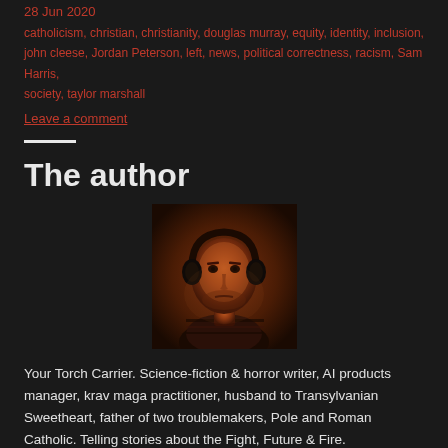28 Jun 2020
catholicism, christian, christianity, douglas murray, equity, identity, inclusion, john cleese, Jordan Peterson, left, news, political correctness, racism, Sam Harris, society, taylor marshall
Leave a comment
The author
[Figure (photo): Portrait photo of a man wearing headphones and a striped shirt, with dramatic warm amber/orange lighting against a dark background.]
Your Torch Carrier. Science-fiction & horror writer, AI products manager, krav maga practitioner, husband to Transylvanian Sweetheart, father of two troublemakers, Pole and Roman Catholic. Telling stories about the Fight, Future & Fire.